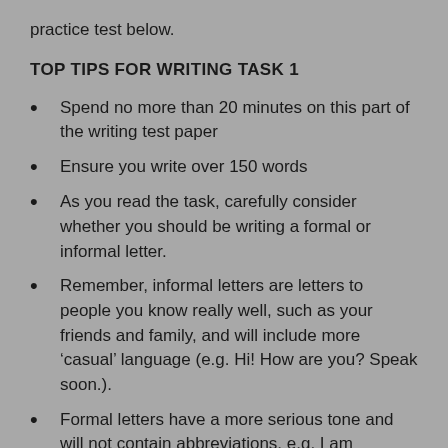practice test below.
TOP TIPS FOR WRITING TASK 1
Spend no more than 20 minutes on this part of the writing test paper
Ensure you write over 150 words
As you read the task, carefully consider whether you should be writing a formal or informal letter.
Remember, informal letters are letters to people you know really well, such as your friends and family, and will include more ‘casual’ language (e.g. Hi! How are you? Speak soon.).
Formal letters have a more serious tone and will not contain abbreviations, e.g. I am